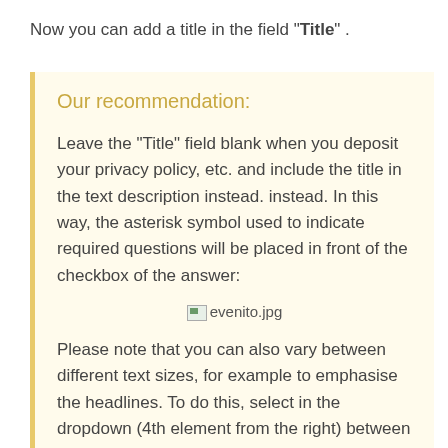Now you can add a title in the field "Title" .
Our recommendation:
Leave the "Title" field blank when you deposit your privacy policy, etc. and include the title in the text description instead. instead. In this way, the asterisk symbol used to indicate required questions will be placed in front of the checkbox of the answer:
[Figure (screenshot): evenito.jpg image placeholder]
Please note that you can also vary between different text sizes, for example to emphasise the headlines. To do this, select in the dropdown (4th element from the right) between small, normal,